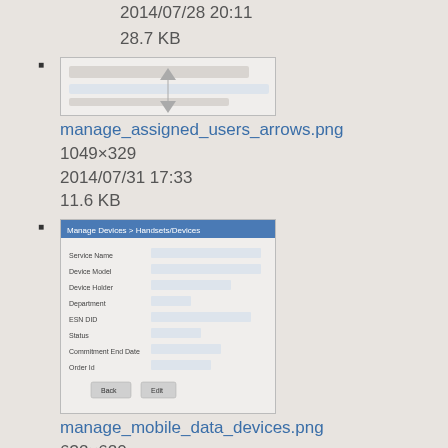2014/07/28 20:11
28.7 KB
[Figure (screenshot): Thumbnail of manage_assigned_users_arrows.png showing a UI form with horizontal layout]
manage_assigned_users_arrows.png
1049×329
2014/07/31 17:33
11.6 KB
[Figure (screenshot): Thumbnail of manage_mobile_data_devices.png showing a device form with fields like Service Name, Device Model, Device Holder, Department, ESN DID, Status, Commitment End Date, Order Id with Back and Edit buttons]
manage_mobile_data_devices.png
632×620
2013/01/05 01:17
53.8 KB
[Figure (screenshot): Thumbnail of manage_profile.png showing a table/spreadsheet-like UI with multiple rows and columns]
manage_profile.png
1365×684
2013/07/02 18:06